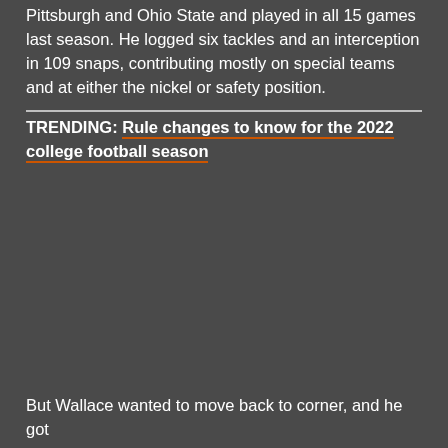Pittsburgh and Ohio State and played in all 15 games last season. He logged six tackles and an interception in 109 snaps, contributing mostly on special teams and at either the nickel or safety position.
TRENDING: Rule changes to know for the 2022 college football season
But Wallace wanted to move back to corner, and he got